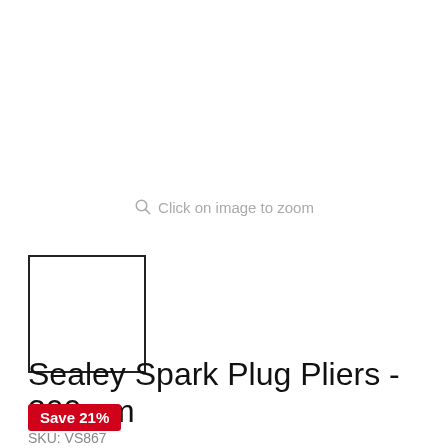Click on image to zoom
[Figure (other): Thumbnail image placeholder box with border]
Sealey Spark Plug Pliers - 300mm
Save 21%
SKU: VS867